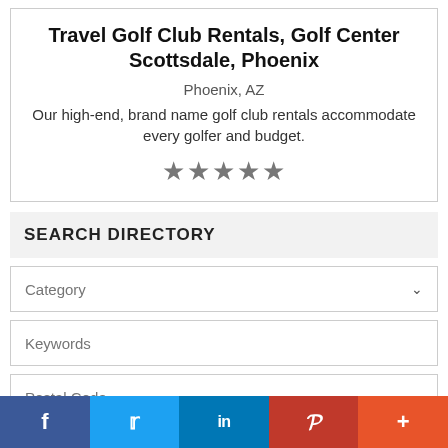Travel Golf Club Rentals, Golf Center Scottsdale, Phoenix
Phoenix, AZ
Our high-end, brand name golf club rentals accommodate every golfer and budget.
★★★★★
SEARCH DIRECTORY
Category
Keywords
Postal Code
f  🐦  in  P  +